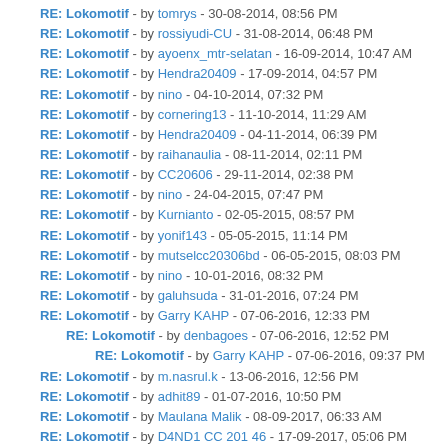RE: Lokomotif - by tomrys - 30-08-2014, 08:56 PM
RE: Lokomotif - by rossiyudi-CU - 31-08-2014, 06:48 PM
RE: Lokomotif - by ayoenx_mtr-selatan - 16-09-2014, 10:47 AM
RE: Lokomotif - by Hendra20409 - 17-09-2014, 04:57 PM
RE: Lokomotif - by nino - 04-10-2014, 07:32 PM
RE: Lokomotif - by cornering13 - 11-10-2014, 11:29 AM
RE: Lokomotif - by Hendra20409 - 04-11-2014, 06:39 PM
RE: Lokomotif - by raihanaulia - 08-11-2014, 02:11 PM
RE: Lokomotif - by CC20606 - 29-11-2014, 02:38 PM
RE: Lokomotif - by nino - 24-04-2015, 07:47 PM
RE: Lokomotif - by Kurnianto - 02-05-2015, 08:57 PM
RE: Lokomotif - by yonif143 - 05-05-2015, 11:14 PM
RE: Lokomotif - by mutselcc20306bd - 06-05-2015, 08:03 PM
RE: Lokomotif - by nino - 10-01-2016, 08:32 PM
RE: Lokomotif - by galuhsuda - 31-01-2016, 07:24 PM
RE: Lokomotif - by Garry KAHP - 07-06-2016, 12:33 PM
RE: Lokomotif - by denbagoes - 07-06-2016, 12:52 PM
RE: Lokomotif - by Garry KAHP - 07-06-2016, 09:37 PM
RE: Lokomotif - by m.nasrul.k - 13-06-2016, 12:56 PM
RE: Lokomotif - by adhit89 - 01-07-2016, 10:50 PM
RE: Lokomotif - by Maulana Malik - 08-09-2017, 06:33 AM
RE: Lokomotif - by D4ND1 CC 201 46 - 17-09-2017, 05:06 PM
yang Punya Photo Loslok, ayo dikumpulkan disini - by alfan.kereta-pesawat - 14-...
RE: yang Punya Photo Loslok, ayo dikumpulkan disini - by phepe_ph - 14-10-2...
CC 204 15 @BD - by d'tRAiNeR - 16-10-2010, 02:51 PM